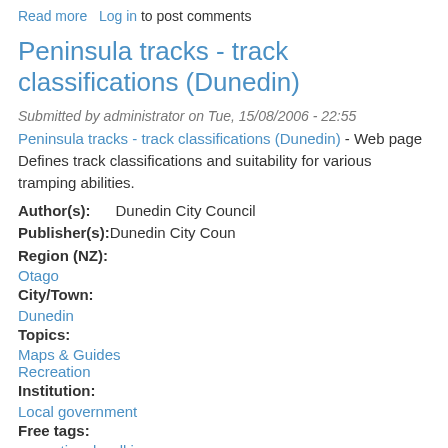Read more   Log in to post comments
Peninsula tracks - track classifications (Dunedin)
Submitted by administrator on Tue, 15/08/2006 - 22:55
Peninsula tracks - track classifications (Dunedin) - Web page Defines track classifications and suitability for various tramping abilities.
Author(s): Dunedin City Council
Publisher(s): Dunedin City Coun
Region (NZ):
Otago
City/Town:
Dunedin
Topics:
Maps & Guides
Recreation
Institution:
Local government
Free tags:
recreational walking
tramping